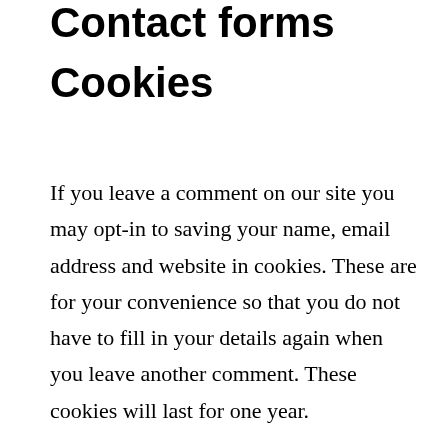Contact forms
Cookies
If you leave a comment on our site you may opt-in to saving your name, email address and website in cookies. These are for your convenience so that you do not have to fill in your details again when you leave another comment. These cookies will last for one year.